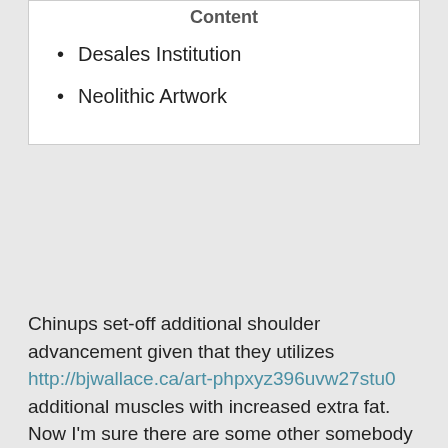Content
Desales Institution
Neolithic Artwork
Chinups set-off additional shoulder advancement given that they utilizes http://bjwallace.ca/art-phpxyz396uvw27stu0 additional muscles with increased extra fat. Now I'm sure there are some other somebody that's immediate yet features thin arms. There are guys for guy boobies and to women who're smooth-chested. And the most lead individuals have bigger torso than simply weak other folks. That's the reason the man who can counter 100kg/220lb five times possess large g than the individual that is only able to counter 40kg/95lb. His or her looks were required to are